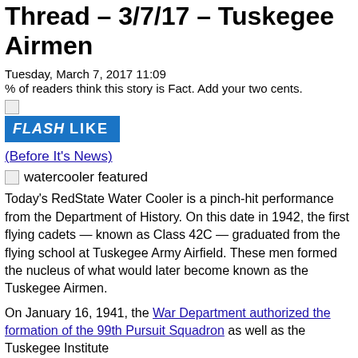Thread – 3/7/17 – Tuskegee Airmen
Tuesday, March 7, 2017 11:09
% of readers think this story is Fact. Add your two cents.
[Figure (other): Flash Like button — blue button with FLASH LIKE text]
(Before It's News)
[Figure (other): Small broken image icon followed by text: watercooler featured]
Today's RedState Water Cooler is a pinch-hit performance from the Department of History. On this date in 1942, the first flying cadets — known as Class 42C — graduated from the flying school at Tuskegee Army Airfield. These men formed the nucleus of what would later become known as the Tuskegee Airmen.
On January 16, 1941, the War Department authorized the formation of the 99th Pursuit Squadron as well as the Tuskegee Institute